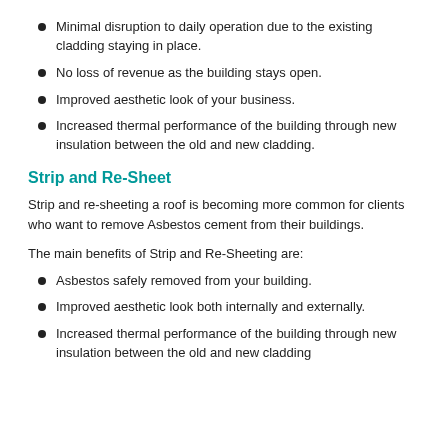Minimal disruption to daily operation due to the existing cladding staying in place.
No loss of revenue as the building stays open.
Improved aesthetic look of your business.
Increased thermal performance of the building through new insulation between the old and new cladding.
Strip and Re-Sheet
Strip and re-sheeting a roof is becoming more common for clients who want to remove Asbestos cement from their buildings.
The main benefits of Strip and Re-Sheeting are:
Asbestos safely removed from your building.
Improved aesthetic look both internally and externally.
Increased thermal performance of the building through new insulation between the old and new cladding